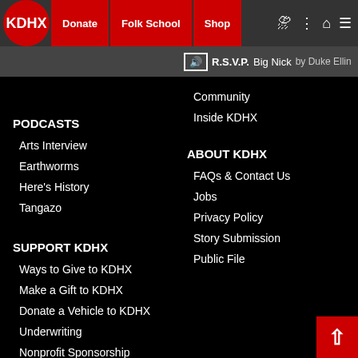KDHX | Donate | Folk School | Shop
R.S.V.P. Big Nick by Duke Ellin
Community
Inside KDHX
PODCASTS
Arts Interview
Earthworms
Here's History
Tangazo
SUPPORT KDHX
Ways to Give to KDHX
Make a Gift to KDHX
Donate a Vehicle to KDHX
Underwriting
Nonprofit Sponsorship
Business Sponsorship
ABOUT KDHX
FAQs & Contact Us
Jobs
Privacy Policy
Story Submission
Public File